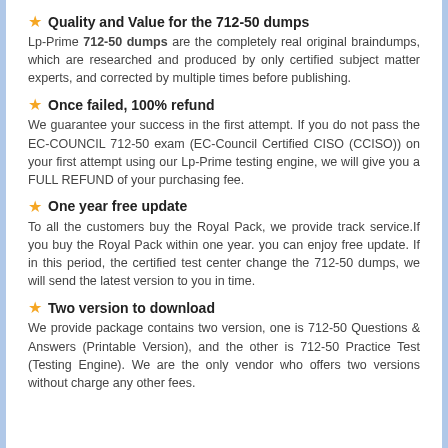Quality and Value for the 712-50 dumps
Lp-Prime 712-50 dumps are the completely real original braindumps, which are researched and produced by only certified subject matter experts, and corrected by multiple times before publishing.
Once failed, 100% refund
We guarantee your success in the first attempt. If you do not pass the EC-COUNCIL 712-50 exam (EC-Council Certified CISO (CCISO)) on your first attempt using our Lp-Prime testing engine, we will give you a FULL REFUND of your purchasing fee.
One year free update
To all the customers buy the Royal Pack, we provide track service.If you buy the Royal Pack within one year. you can enjoy free update. If in this period, the certified test center change the 712-50 dumps, we will send the latest version to you in time.
Two version to download
We provide package contains two version, one is 712-50 Questions & Answers (Printable Version), and the other is 712-50 Practice Test (Testing Engine). We are the only vendor who offers two versions without charge any other fees.